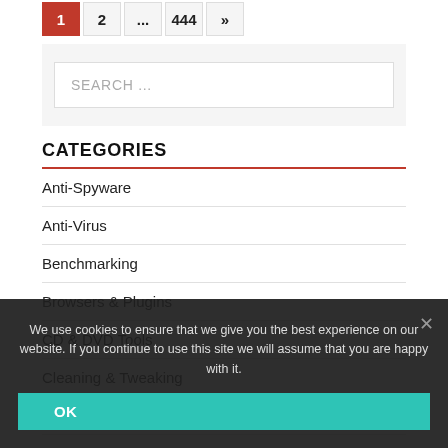1  2  ...  444  »
SEARCH ...
CATEGORIES
Anti-Spyware
Anti-Virus
Benchmarking
Browsers & Plugins
CD & DVD Tools
Cleaning & Tweaking
Compression & Backup
Desktop Enhancements
We use cookies to ensure that we give you the best experience on our website. If you continue to use this site we will assume that you are happy with it.